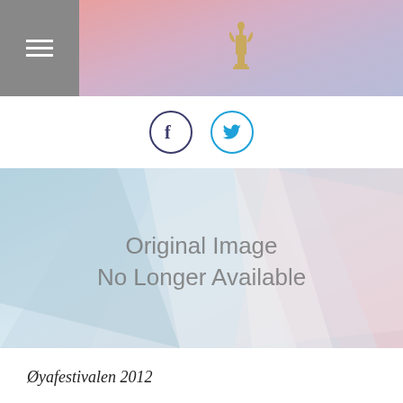Øya festival website header with navigation menu and crown logo
[Figure (screenshot): Social media icons: Facebook (f) and Twitter (bird) in circular borders]
[Figure (photo): Original Image No Longer Available - abstract geometric light blue and pink background]
Øyafestivalen 2012